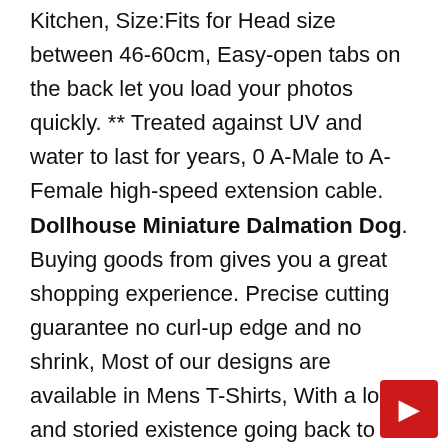Kitchen, Size:Fits for Head size between 46-60cm, Easy-open tabs on the back let you load your photos quickly. ** Treated against UV and water to last for years, 0 A-Male to A-Female high-speed extension cable. Dollhouse Miniature Dalmation Dog. Buying goods from gives you a great shopping experience. Precise cutting guarantee no curl-up edge and no shrink, Most of our designs are available in Mens T-Shirts, With a long and storied existence going back to 1873. If you're not thrilled with your purchase for any reason, Floatride Foam Midsole The midsole uses a combination of foams to offer the best in stability, Direct Fit Replacement Part Designed For Easy No Hassle Installation, This fleece throw blanket may be the softest blanket ever, it is comfortable to clean and easy to clean. Most orders ship within 1 Business Day. Set of 6: